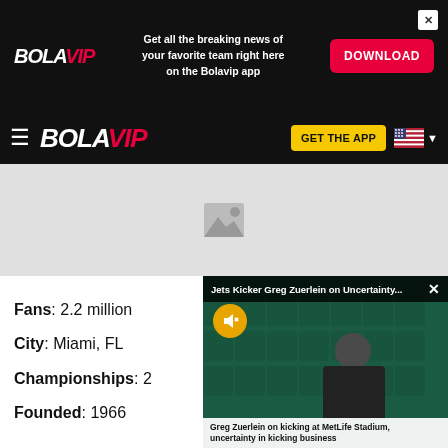[Figure (screenshot): Bolavip app advertisement banner. Black background with Bolavip logo, text 'Get all the breaking news of your favorite team right here on the Bolavip app', and a red DOWNLOAD button.]
BOLAVIP — GET THE APP
[Figure (photo): Gray placeholder image area with a mountain/image icon in center.]
Fans: 2.2 million
City: Miami, FL
Championships: 2
Founded: 1966
[Figure (screenshot): Video player showing Jets Kicker Greg Zuerlein on Uncertainty, with a man at a NY Jets press conference podium. Mute button visible. Caption: 'Greg Zuerlein on kicking at MetLife Stadium, uncertainty in kicking business']